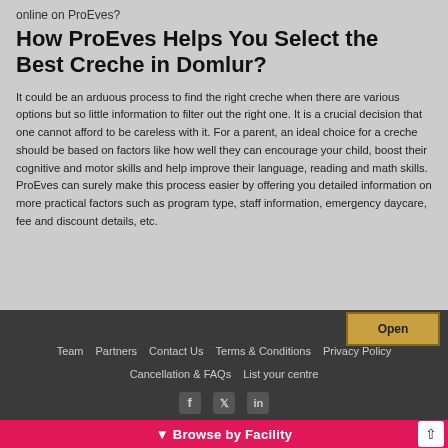online on ProEves?
How ProEves Helps You Select the Best Creche in Domlur?
It could be an arduous process to find the right creche when there are various options but so little information to filter out the right one. It is a crucial decision that one cannot afford to be careless with it. For a parent, an ideal choice for a creche should be based on factors like how well they can encourage your child, boost their cognitive and motor skills and help improve their language, reading and math skills. ProEves can surely make this process easier by offering you detailed information on more practical factors such as program type, staff information, emergency daycare, fee and discount details, etc.
[Figure (other): Open badge/coupon graphic in top right of footer area]
Team   Partners   Contact Us   Terms & Conditions   Privacy Policy   Cancellation & FAQs   List your centre
[Figure (other): Social media icons: Facebook, Twitter, LinkedIn]
Browse by Facility